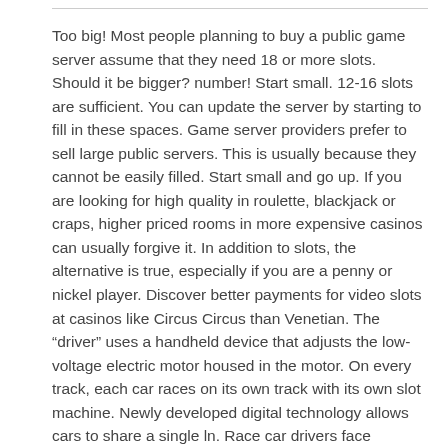Too big! Most people planning to buy a public game server assume that they need 18 or more slots. Should it be bigger? number! Start small. 12-16 slots are sufficient. You can update the server by starting to fill in these spaces. Game server providers prefer to sell large public servers. This is usually because they cannot be easily filled. Start small and go up. If you are looking for high quality in roulette, blackjack or craps, higher priced rooms in more expensive casinos can usually forgive it. In addition to slots, the alternative is true, especially if you are a penny or nickel player. Discover better payments for video slots at casinos like Circus Circus than Venetian. The “driver” uses a handheld device that adjusts the low-voltage electric motor housed in the motor. On every track, each car races on its own track with its own slot machine. Newly developed digital technology allows cars to share a single ln. Race car drivers face challenges when approaching the car at full speed on curves. The goal is to go around the curve without